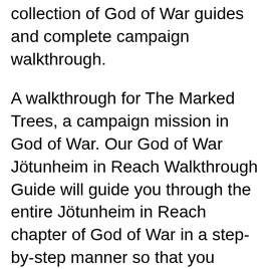collection of God of War guides and complete campaign walkthrough.
A walkthrough for The Marked Trees, a campaign mission in God of War. Our God of War Jötunheim in Reach Walkthrough Guide will guide you through the entire Jötunheim in Reach chapter of God of War in a step-by-step manner so that you
Find great deals on eBay for god of war strategy guide. Shop with confidence. Follow the God of War 2018 walkthrough. Discover treasure map locations, collectibles, artifacts and more. Get the latest tips on how to complete the PS4 trophies